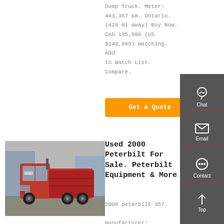Dump Truck. Meter: 483,357 km. Ontario. (428 mi away) Buy Now. CAD 185,000 (US $149,885) Watching. Add to Watch List. Compare.
Get a Quote
[Figure (photo): Photo of a red heavy-duty truck (HOWO brand) parked in a yard]
Used 2000 Peterbilt For Sale. Peterbilt Equipment & More
2000 peterbilt 357.
manufacturer: peterbilt